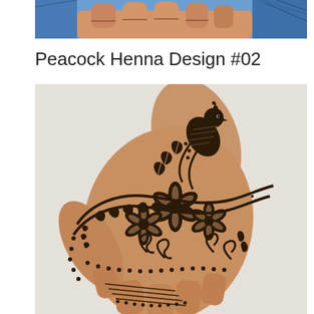[Figure (photo): Partial view of a hand with henna/mehndi design, showing fingers and blue background fabric]
Peacock Henna Design #02
[Figure (photo): Close-up photograph of an intricate peacock henna (mehndi) design on the back of a hand, featuring a peacock motif on the wrist/finger, surrounded by floral and scroll patterns. The hand is resting on a white towel.]